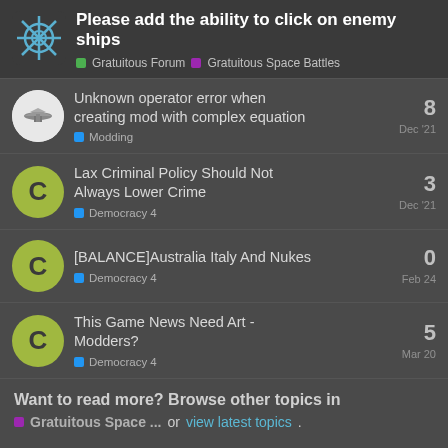Please add the ability to click on enemy ships — Gratuitous Forum > Gratuitous Space Battles
Unknown operator error when creating mod with complex equation — Modding — 8 — Dec '21
Lax Criminal Policy Should Not Always Lower Crime — Democracy 4 — 3 — Dec '21
[BALANCE]Australia Italy And Nukes — Democracy 4 — 0 — Feb 24
This Game News Need Art - Modders? — Democracy 4 — 5 — Mar 20
Want to read more? Browse other topics in Gratuitous Space ... or view latest topics.